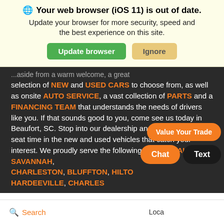🌐 Your web browser (iOS 11) is out of date.
Update your browser for more security, speed and the best experience on this site.
Update browser | Ignore
...aside from a warm welcome, a great selection of NEW and USED CARS to choose from, as well as onsite AUTO SERVICE, a vast collection of PARTS and a FINANCING TEAM that understands the needs of drivers like you. If that sounds good to you, come see us today in Beaufort, SC. Stop into our dealership and get some drivers seat time in the new and used vehicles that catch your interest. We proudly serve the following areas: BEAUFORT, SAVANNAH, CHARLESTON, BLUFFTON, HILTO... HARDEEVILLE, CHARLES...
Value Your Trade
Chat
Text
Search
Loca...